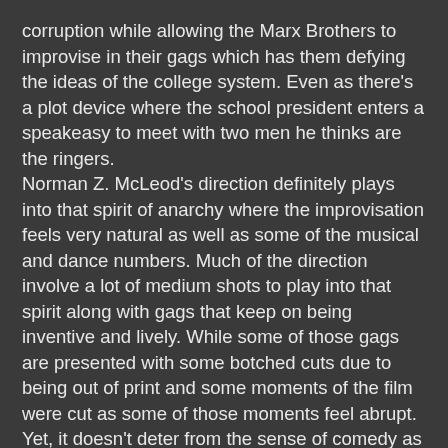corruption while allowing the Marx Brothers to improvise in their gags which has them defying the ideas of the college system. Even as there's a plot device where the school president enters a speakeasy to meet with two men he thinks are the ringers.
Norman Z. McLeod's direction definitely plays into that spirit of anarchy where the improvisation feels very natural as well as some of the musical and dance numbers. Much of the direction involve a lot of medium shots to play into that spirit along with gags that keep on being inventive and lively. While some of those gags are presented with some botched cuts due to being out of print and some moments of the film were cut as some of those moments feel abrupt. Yet, it doesn't deter from the sense of comedy as it includes this climatic showdown in the football game which is total anarchy at its finest. Even in scenes where the president and his men do whatever to romance the woman whom his son has been going out with. Overall, McLeod creates a wild and sensational film about a college professor trying to cheat in a football game against a rival school.